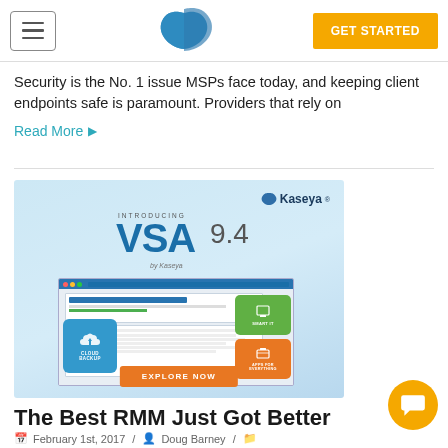Navigation bar with hamburger menu, Kaseya logo, GET STARTED button
Security is the No. 1 issue MSPs face today, and keeping client endpoints safe is paramount. Providers that rely on
Read More ▶
[Figure (screenshot): Kaseya VSA 9.4 advertisement banner introducing the new version with a software screenshot, Cloud Backup and other feature badges, and an EXPLORE NOW button]
The Best RMM Just Got Better
February 1st, 2017  /  Doug Barney  /